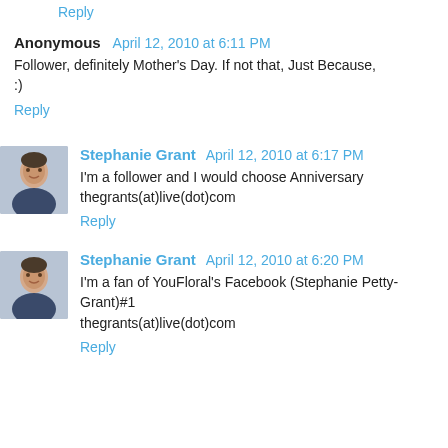Reply
Anonymous  April 12, 2010 at 6:11 PM
Follower, definitely Mother's Day. If not that, Just Because, :)
Reply
Stephanie Grant  April 12, 2010 at 6:17 PM
I'm a follower and I would choose Anniversary
thegrants(at)live(dot)com
Reply
Stephanie Grant  April 12, 2010 at 6:20 PM
I'm a fan of YouFloral's Facebook (Stephanie Petty-Grant)#1
thegrants(at)live(dot)com
Reply